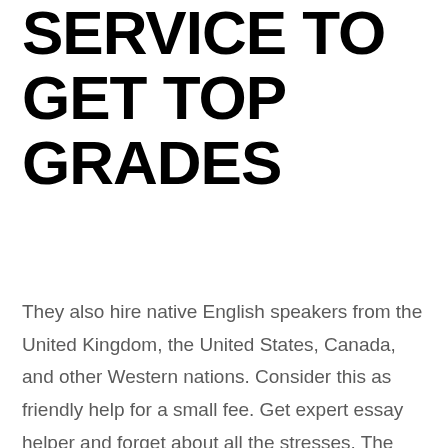SERVICE TO GET TOP GRADES
They also hire native English speakers from the United Kingdom, the United States, Canada, and other Western nations. Consider this as friendly help for a small fee. Get expert essay helper and forget about all the stresses. The company mission is to make both sides customers and writers satisfied with the ultimate product. Over a decade experience. When you choose a reputable essay writing service like Studybay, you can be certain that your transactions will be completely safe and secure. This opportunity offers a huge number of websites. I've never